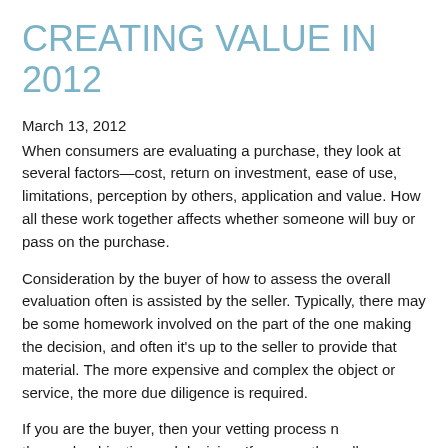CREATING VALUE IN 2012
March 13, 2012
When consumers are evaluating a purchase, they look at several factors—cost, return on investment, ease of use, limitations, perception by others, application and value. How all these work together affects whether someone will buy or pass on the purchase.
Consideration by the buyer of how to assess the overall evaluation often is assisted by the seller. Typically, there may be some homework involved on the part of the one making the decision, and often it's up to the seller to provide that material. The more expensive and complex the object or service, the more due diligence is required.
If you are the buyer, then your vetting process needs to be thorough, objective and decisive. If you are the seller…